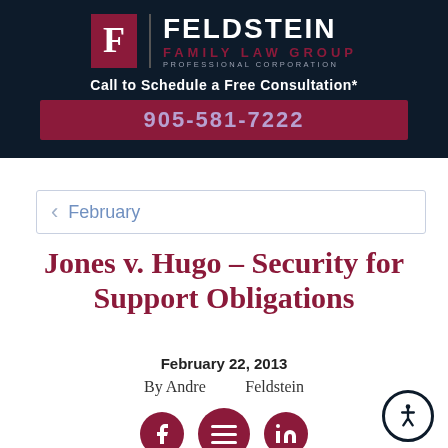[Figure (logo): Feldstein Family Law Group Professional Corporation logo with red F box and dark navy background, phone number 905-581-7222]
< February
Jones v. Hugo – Security for Support Obligations
February 22, 2013
By Andrew Feldstein
[Figure (illustration): Social media icons: Facebook, hamburger menu, LinkedIn, and accessibility icon]